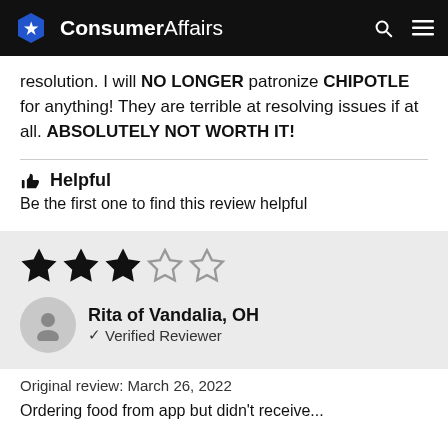ConsumerAffairs
resolution. I will NO LONGER patronize CHIPOTLE for anything! They are terrible at resolving issues if at all. ABSOLUTELY NOT WORTH IT!
Helpful
Be the first one to find this review helpful
[Figure (other): 2 out of 5 stars rating]
Rita of Vandalia, OH
✓ Verified Reviewer
Original review: March 26, 2022
Ordering food from app but didn't receive...